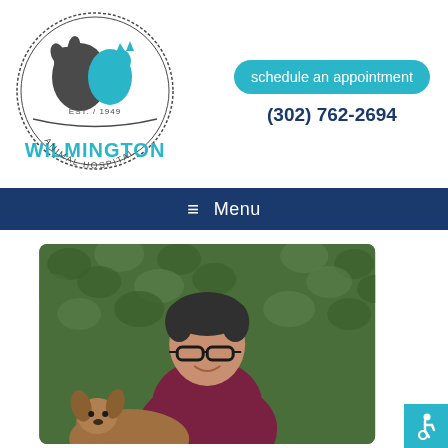[Figure (logo): Wilmington Animal Hospital logo - circular logo with silhouettes of a dog and cat, text reads WILMINGTON EST./1949 ANIMAL HOSPITAL in teal and dark gray]
schedule an appointment
(302) 762-2694
≡ Menu
[Figure (photo): A woman with short dark hair and black glasses wearing a maroon/burgundy scrub top, holding a brown dog, standing in front of a green ivy wall background.]
[Figure (other): Accessibility icon button (wheelchair symbol) in teal square at bottom right]